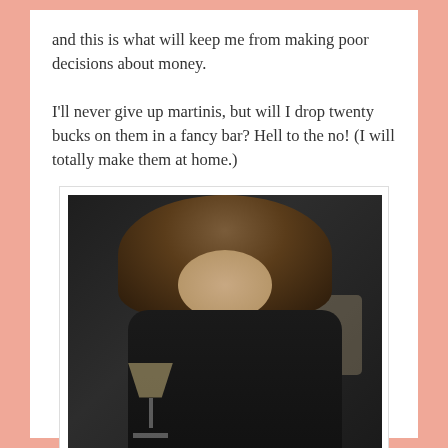and this is what will keep me from making poor decisions about money.

I'll never give up martinis, but will I drop twenty bucks on them in a fancy bar? Hell to the no! (I will totally make them at home.)
[Figure (photo): A woman smiling and holding a martini glass, wearing a black top, photographed indoors against a dark background.]